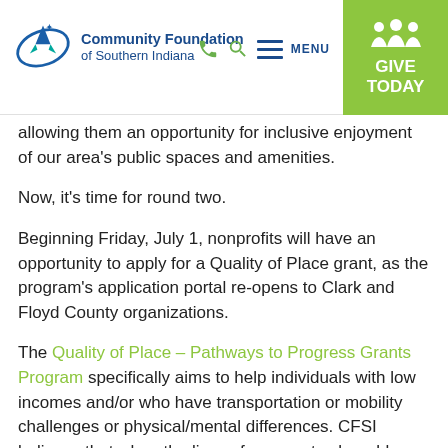[Figure (logo): Community Foundation of Southern Indiana logo with stylized rocket/planet icon in blue and teal]
Community Foundation of Southern Indiana — MENU | GIVE TODAY
allowing them an opportunity for inclusive enjoyment of our area's public spaces and amenities.
Now, it's time for round two.
Beginning Friday, July 1, nonprofits will have an opportunity to apply for a Quality of Place grant, as the program's application portal re-opens to Clark and Floyd County organizations.
The Quality of Place – Pathways to Progress Grants Program specifically aims to help individuals with low incomes and/or who have transportation or mobility challenges or physical/mental differences. CFSI believes that when the lives of our most vulnerable are improved, our communities are more welcoming